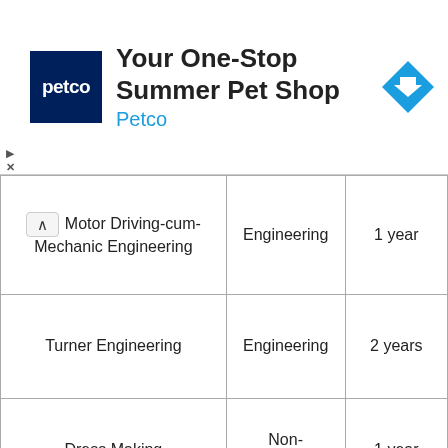[Figure (screenshot): Petco advertisement banner: 'Your One-Stop Summer Pet Shop' with Petco logo and navigation arrow icon]
| Course Name | Category | Duration |
| --- | --- | --- |
| Motor Driving-cum-Mechanic Engineering | Engineering | 1 year |
| Turner Engineering | Engineering | 2 years |
| Dress Making | Non-engineering | 1 year |
| Manufacture Foot Wear | Non-engineering | 1 year |
| Information Technology & E.S.M. Engineering | Engineering | 2 years |